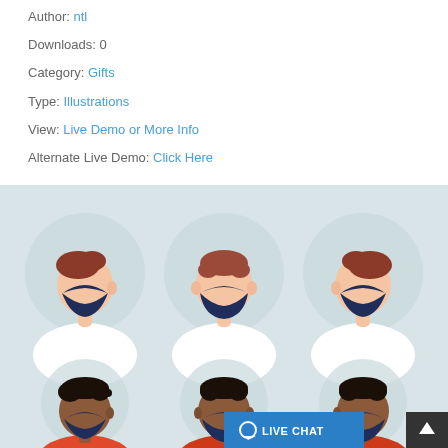Author: ntl
Downloads: 0
Category: Gifts
Type: Illustrations
View: Live Demo or More Info
Alternate Live Demo: Click Here
[Figure (illustration): Six illustrated figures of people wearing dark face masks shown from different angles (left profile, front, right profile) in two rows. Top row shows lighter-skinned figures in white shirts; bottom row shows darker-skinned figures. Background is light blue-grey with circular grey halos behind each head.]
LIVE CHAT